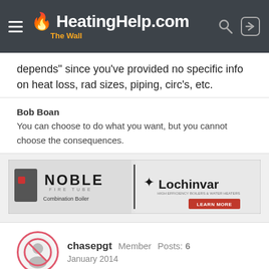HeatingHelp.com The Wall
depends" since you've provided no specific info on heat loss, rad sizes, piping, circ's, etc.
Bob Boan
You can choose to do what you want, but you cannot choose the consequences.
[Figure (illustration): Noble Fire Tube Combination Boiler and Lochinvar advertisement banner]
chasepgt  Member  Posts: 6
January 2014

a bit more info